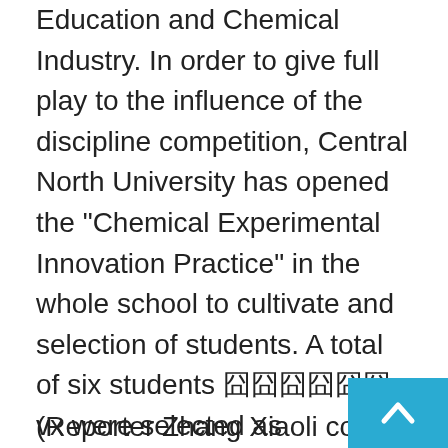Education and Chemical Industry. In order to give full play to the influence of the discipline competition, Central North University has opened the "Chemical Experimental Innovation Practice" in the whole school to cultivate and selection of students. A total of six students 囧囧囧囧囧囧vx were selected as "Excellent Taiwan" and "Kaixuan Work Team" participated in the northwestern competition of the National College Chemical Experiment Competition this year, and won the Special Award and First Prize. Since then, three student teams will be selected again to participate in the national finals. In the competition, the school student and the famous universities in China have achieved excellent results with excellent performance and excellent playback.
(Reporter Zhang Xiaoli correspondent Guo Ya